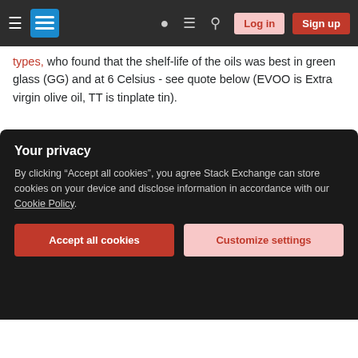Stack Exchange navigation bar with hamburger menu, logo, help, chat, search icons, Log in and Sign up buttons
types, who found that the shelf-life of the oils was best in green glass (GG) and at 6 Celsius - see quote below (EVOO is Extra virgin olive oil, TT is tinplate tin).
While shelf-life of EVOO was differently affected by packaging and storage temperature, the latter being critical for the oxidative changes taking place in oil, at the end of the observation period none of the oil samples showed significant changes in
preserved positive attributes, whereas the ... in TT at 20°C showed ...
Your privacy
By clicking "Accept all cookies", you agree Stack Exchange can store cookies on your device and disclose information in accordance with our Cookie Policy.
Accept all cookies
Customize settings